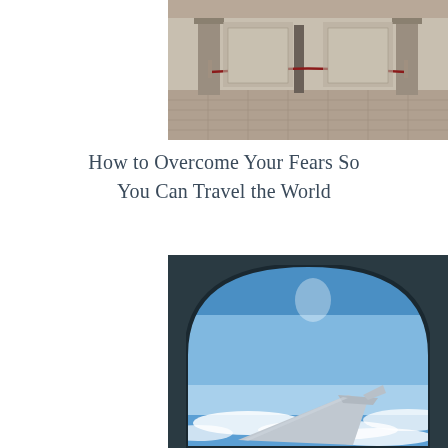[Figure (photo): Photo of a street or plaza scene with pillars, red rope barriers, brick pavement, and architectural details — appears to be an entrance or outdoor corridor area.]
How to Overcome Your Fears So You Can Travel the World
[Figure (photo): View through an airplane window showing the wing of the aircraft against a bright blue sky with clouds below, framed by a dark arched window border.]